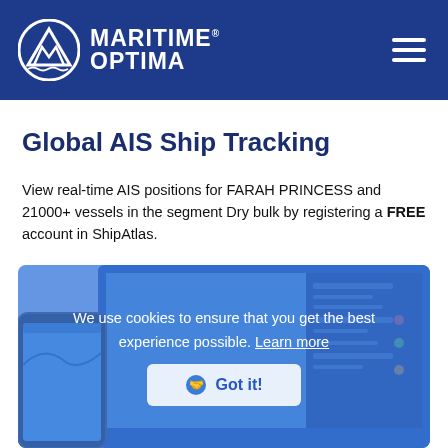[Figure (logo): Maritime Optima logo with circular sailing icon and text 'MARITIME OPTIMA' in white on dark blue header, with hamburger menu icon on the right]
Global AIS Ship Tracking
View real-time AIS positions for FARAH PRINCESS and 21000+ vessels in the segment Dry bulk by registering a FREE account in ShipAtlas.
[Figure (screenshot): ShipAtlas application screenshot showing a map with vessel tracking on desktop and mobile devices, overlaid with a cookie consent popup reading 'We use cookies to ensure that you get the best experience possible. Learn more' and a 'Got it!' confirmation button]